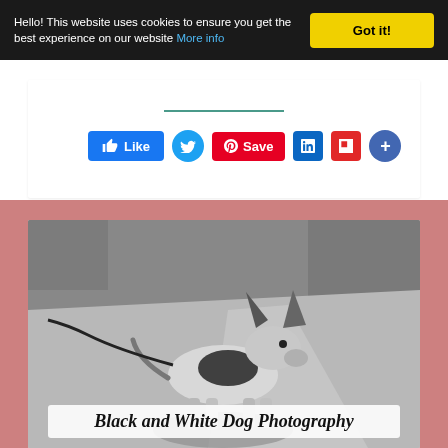Hello! This website uses cookies to ensure you get the best experience on our website More info
Got it!
[Figure (infographic): Social sharing buttons row: Like (Facebook blue), Twitter (blue bird icon), Save (Pinterest red), LinkedIn (blue), Flipboard (red), Share (blue plus)]
[Figure (photo): Black and white photograph of a small dog (possibly Chihuahua mix) standing on a sidewalk on a leash, with grass and driveway in background. Title overlay reads 'Black and White Dog Photography' in cursive italic font.]
Black and White Dog Photography